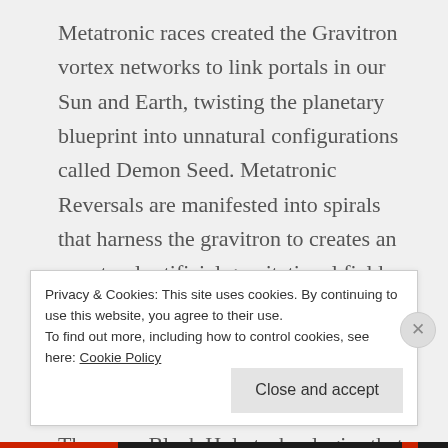Metatronic races created the Gravitron vortex networks to link portals in our Sun and Earth, twisting the planetary blueprint into unnatural configurations called Demon Seed. Metatronic Reversals are manifested into spirals that harness the gravitron to creates an unnatural artificial gravitational fields on this planet. The Gravitron is an electromagnetic harness field that is part of a larger electromagnetic harnessing structure called the NFT. These are Black Hole technologies that
Privacy & Cookies: This site uses cookies. By continuing to use this website, you agree to their use.
To find out more, including how to control cookies, see here: Cookie Policy
Close and accept